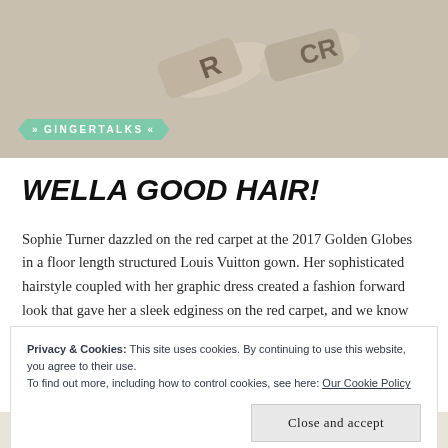[Figure (photo): Photo banner showing Wella hair product bottles on a surface, with GINGERTALKS badge overlay]
WELLA GOOD HAIR!
Sophie Turner dazzled on the red carpet at the 2017 Golden Globes in a floor length structured Louis Vuitton gown. Her sophisticated hairstyle coupled with her graphic dress created a fashion forward look that gave her a sleek edginess on the red carpet, and we know how
Privacy & Cookies: This site uses cookies. By continuing to use this website, you agree to their use.
To find out more, including how to control cookies, see here: Our Cookie Policy
Close and accept
Professionally designed sites